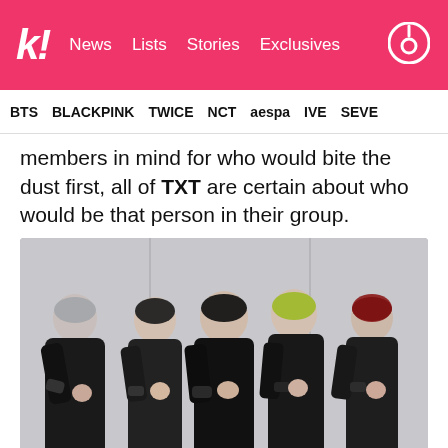k! News Lists Stories Exclusives
BTS BLACKPINK TWICE NCT aespa IVE SEVE
members in mind for who would bite the dust first, all of TXT are certain about who would be that person in their group.
[Figure (photo): TXT (Tomorrow X Together) — five male K-pop group members dressed in black outfits, posing with fists raised, against a light grey wall. One member has silver/grey hair, one has dark hair, one has black hair, one has yellow-green hair, one has red hair.]